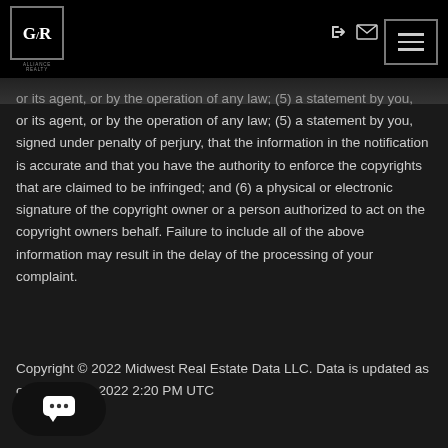GR Realty header with logo and navigation icons
or its agent, or by the operation of any law; (5) a statement by you, signed under penalty of perjury, that the information in the notification is accurate and that you have the authority to enforce the copyrights that are claimed to be infringed; and (6) a physical or electronic signature of the copyright owner or a person authorized to act on the copyright owners behalf. Failure to include all of the above information may result in the delay of the processing of your complaint.
Copyright © 2022 Midwest Real Estate Data LLC. Data is updated as of August 31, 2022 2:20 PM UTC